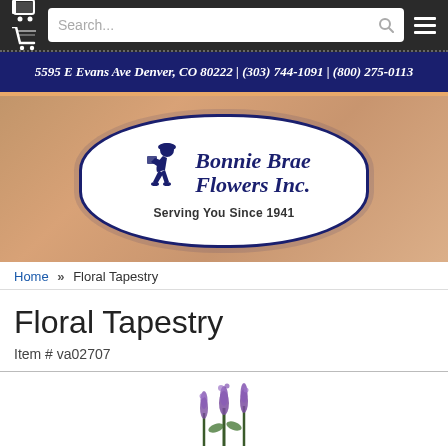Search...
5595 E Evans Ave Denver, CO 80222 | (303) 744-1091 | (800) 275-0113
[Figure (logo): Bonnie Brae Flowers Inc. logo with delivery runner figure, oval white badge on floral background. Text: Bonnie Brae Flowers Inc. Serving You Since 1941]
Home » Floral Tapestry
Floral Tapestry
Item # va02707
[Figure (photo): Product photo of Floral Tapestry arrangement showing lavender/purple flowers]